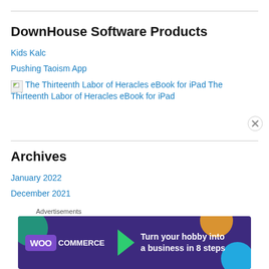DownHouse Software Products
Kids Kalc
Pushing Taoism App
The Thirteenth Labor of Heracles eBook for iPad
Archives
January 2022
December 2021
May 2021
April 2021
March 2021
[Figure (screenshot): WooCommerce advertisement banner: 'Turn your hobby into a business in 8 steps']